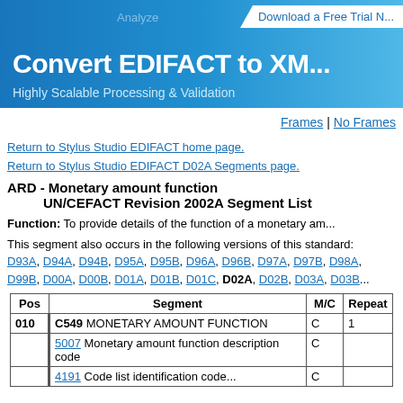[Figure (illustration): Blue banner header with 'Convert EDIFACT to XML' text and 'Highly Scalable Processing & Validation' subtitle, with a 'Download a Free Trial N...' button in white on the right]
Frames | No Frames
Return to Stylus Studio EDIFACT home page.
Return to Stylus Studio EDIFACT D02A Segments page.
ARD - Monetary amount function
 UN/CEFACT Revision 2002A Segment List
Function: To provide details of the function of a monetary am...
This segment also occurs in the following versions of this standard:
D93A, D94A, D94B, D95A, D95B, D96A, D96B, D97A, D97B, D98A, D99B, D00A, D00B, D01A, D01B, D01C, D02A, D02B, D03A, D03B
| Pos | Segment | M/C | Repeat |
| --- | --- | --- | --- |
| 010 | C549 MONETARY AMOUNT FUNCTION | C | 1 |
|  | 5007 Monetary amount function description code | C |  |
|  | 4191 Code list identification code... | C |  |